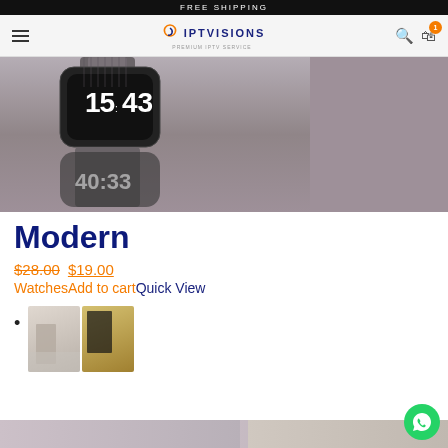FREE SHIPPING
[Figure (logo): IPTVisions logo with orange and blue swoosh icon]
[Figure (photo): Close-up photo of a smartwatch with black display showing 15:43 and its reflection on a gray surface]
Modern
$28.00 $19.00
WatchesAdd to cartQuick View
[Figure (photo): Two thumbnail images side by side: a person in light clothing and a person in dark clothing on a yellow/warm background]
[Figure (photo): Bottom strip image partially visible]